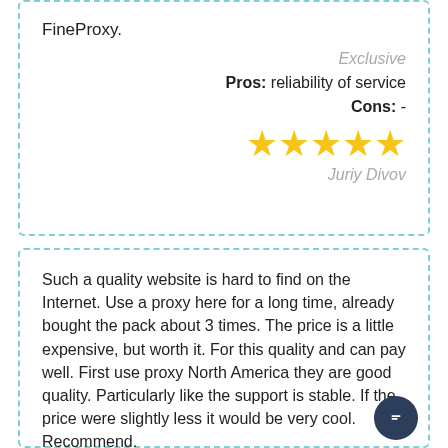FineProxy.
Exclusive
Pros:  reliability of service
Cons:  -
[Figure (other): 5 gold/yellow stars rating]
Juriy Divov
Such a quality website is hard to find on the Internet. Use a proxy here for a long time, already bought the pack about 3 times. The price is a little expensive, but worth it. For this quality and can pay well. First use proxy North America they are good quality. Particularly like the support is stable. If the price were slightly less it would be very cool. Recommend.
3000 proxy